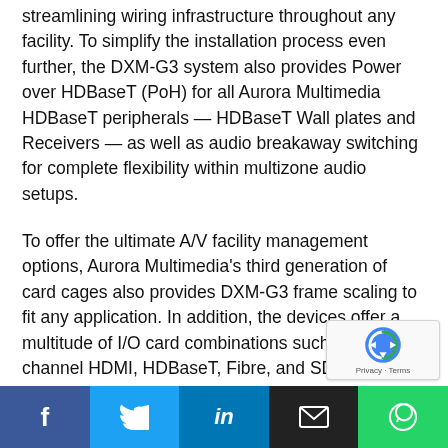streamlining wiring infrastructure throughout any facility. To simplify the installation process even further, the DXM-G3 system also provides Power over HDBaseT (PoH) for all Aurora Multimedia HDBaseT peripherals — HDBaseT Wall plates and Receivers — as well as audio breakaway switching for complete flexibility within multizone audio setups.
To offer the ultimate A/V facility management options, Aurora Multimedia's third generation of card cages also provides DXM-G3 frame scaling to fit any application. In addition, the devices offer a multitude of I/O card combinations such as four-channel HDMI, HDBaseT, Fibre, and SDI.
[Figure (other): reCAPTCHA badge with Privacy - Terms text]
[Figure (other): Social media sharing bar with Facebook, Twitter, LinkedIn, Email, and WhatsApp buttons]